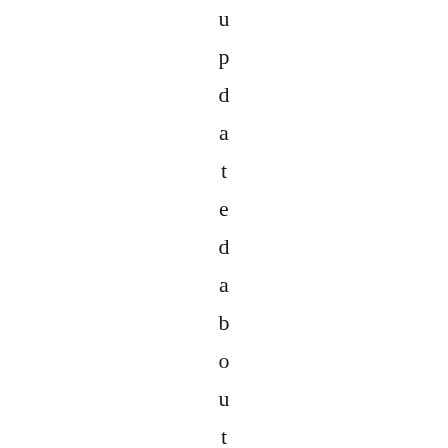updated about events, meeti...